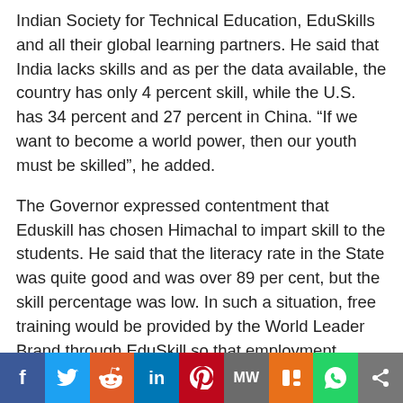Indian Society for Technical Education, EduSkills and all their global learning partners. He said that India lacks skills and as per the data available, the country has only 4 percent skill, while the U.S. has 34 percent and 27 percent in China. “If we want to become a world power, then our youth must be skilled”, he added.
The Governor expressed contentment that Eduskill has chosen Himachal to impart skill to the students. He said that the literacy rate in the State was quite good and was over 89 per cent, but the skill percentage was low. In such a situation, free training would be provided by the World Leader Brand through EduSkill so that employment opportunities could be available in big industrial houses.
Shri Dattatraya said the COVID-19 pandemic has severely impacted the education sector, accelerating the shift to
f  Twitter  Reddit  in  Pinterest  MW  Mix  WhatsApp  Share